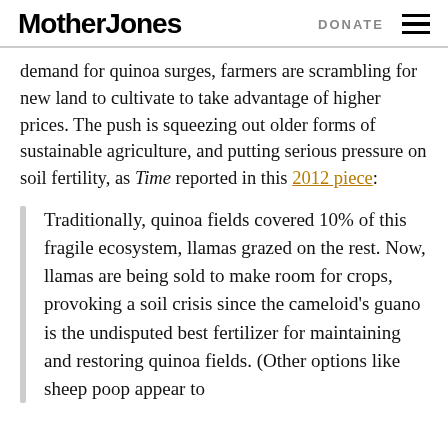Mother Jones   DONATE
demand for quinoa surges, farmers are scrambling for new land to cultivate to take advantage of higher prices. The push is squeezing out older forms of sustainable agriculture, and putting serious pressure on soil fertility, as Time reported in this 2012 piece:
Traditionally, quinoa fields covered 10% of this fragile ecosystem, llamas grazed on the rest. Now, llamas are being sold to make room for crops, provoking a soil crisis since the cameloid's guano is the undisputed best fertilizer for maintaining and restoring quinoa fields. (Other options like sheep poop appear to